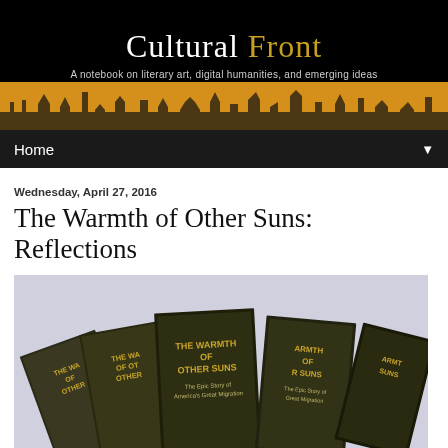[Figure (screenshot): Cultural Front website header banner with black background, site title 'Cultural Front' in white and gold serif font, subtitle 'A notebook on literary art, digital humanities, and emerging ideas', and a golden silhouette cityscape at the bottom]
Home ▼
Wednesday, April 27, 2016
The Warmth of Other Suns: Reflections
[Figure (photo): Multiple copies of the book 'The Warmth of Other Suns: The Epic Story of America's Great Migration' fanned out, showing the book covers with sepia-toned imagery]